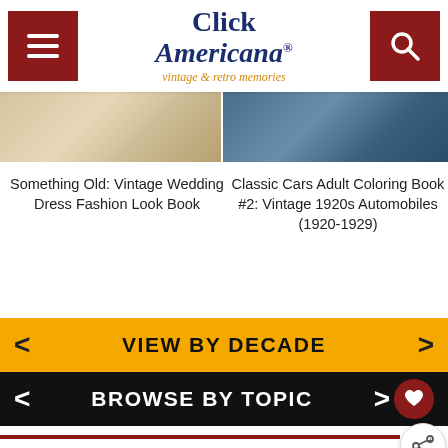Click Americana — vintage & retro memories
[Figure (screenshot): Two cropped article thumbnail images side by side: left shows a vintage wedding dress photo, right shows a vintage 1920s automobile]
Something Old: Vintage Wedding Dress Fashion Look Book
Classic Cars Adult Coloring Book #2: Vintage 1920s Automobiles (1920-1929)
[Figure (infographic): Orange navigation bar with left/right arrows and text VIEW BY DECADE]
[Figure (infographic): Black navigation bar with left/right arrows, heart icon, and text BROWSE BY TOPIC]
[Figure (infographic): Red horizontal divider line with circular share icon on the right]
[Figure (infographic): Search bar with Search... placeholder text and WHAT'S NEXT -> LeSabre, Riviera &... preview card]
[Figure (infographic): Best Friends Forever advertisement banner with cat image, teal background, and close/dismiss buttons]